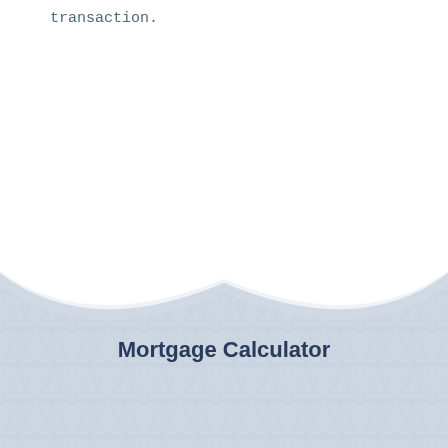transaction.
[Figure (illustration): Decorative background with geometric hexagonal/triangular tile pattern in light blue-grey, with a wave or folded-paper shape at the top creating a white negative space, and bold text 'Mortgage Calculator' centered in the lower portion.]
Mortgage Calculator